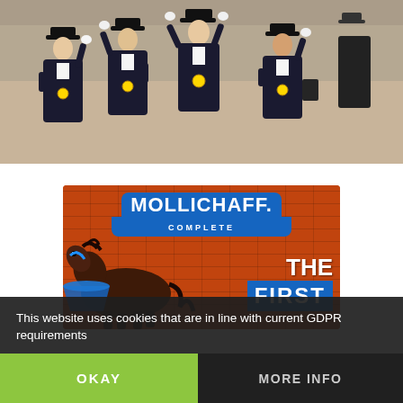[Figure (photo): Four equestrian athletes in dark jackets and top hats, wearing gold medals, raising their arms in celebration on a sandy arena background.]
[Figure (photo): Mollichaff Complete advertisement banner showing a horse by a brick wall with text 'THE FIRST'.]
This website uses cookies that are in line with current GDPR requirements
OKAY
MORE INFO